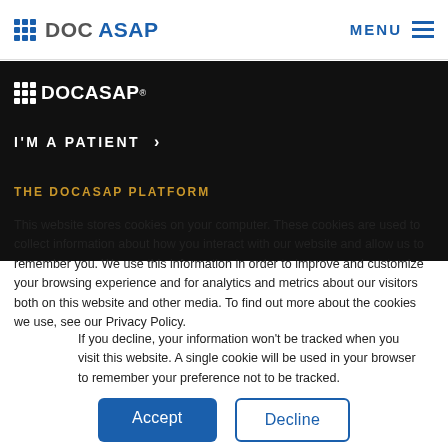DOCASAP  MENU
[Figure (logo): DOCASAP logo in white on dark background with grid dot icon]
I'M A PATIENT  ›
THE DOCASAP PLATFORM
This website stores cookies on your computer. These cookies are used to collect information about how you interact with our website and allow us to remember you. We use this information in order to improve and customize your browsing experience and for analytics and metrics about our visitors both on this website and other media. To find out more about the cookies we use, see our Privacy Policy.
If you decline, your information won't be tracked when you visit this website. A single cookie will be used in your browser to remember your preference not to be tracked.
Accept  Decline